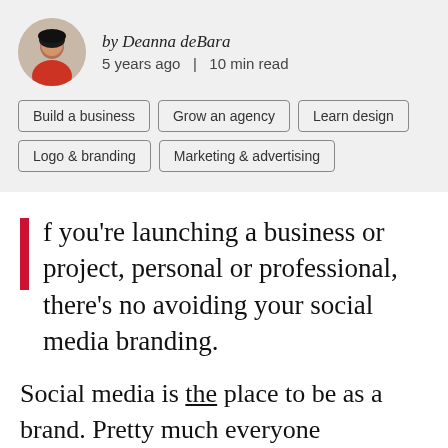by Deanna deBara
5 years ago  |  10 min read
Build a business
Grow an agency
Learn design
Logo & branding
Marketing & advertising
f you're launching a business or project, personal or professional, there's no avoiding your social media branding.
Social media is the place to be as a brand. Pretty much everyone (including your mom, your grandma and your great aunt Joanie) spends half of their waking hours checking their various social media platforms. And